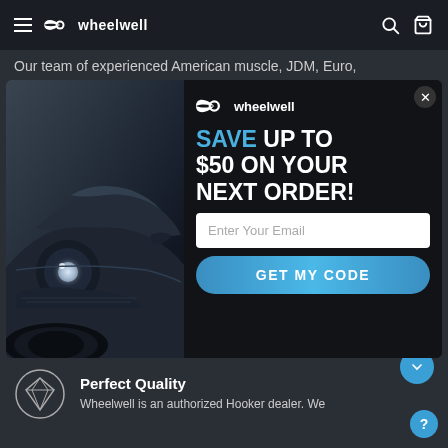wheelwell
Our team of experienced American muscle, JDM, Euro, and off-road tuners are ready to answer your questions
[Figure (screenshot): Wheelwell promotional modal popup overlay showing a dark sports car (Ford Mustang) on the left side, wheelwell logo, 'SAVE UP TO $50 ON YOUR NEXT ORDER!' promo text, email input field, and 'GET MY CODE' button]
Perfect Quality
Wheelwell is an authorized Hooker dealer. We